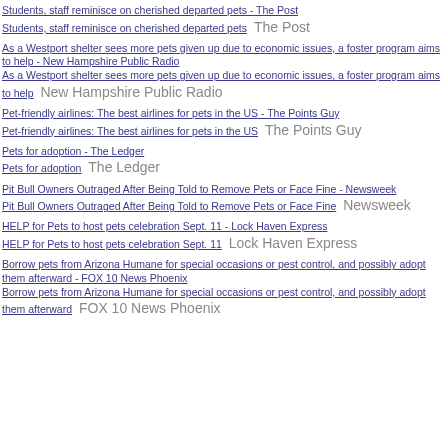Students, staff reminisce on cherished departed pets - The Post
Students, staff reminisce on cherished departed pets  The Post
As a Westport shelter sees more pets given up due to economic issues, a foster program aims to help - New Hampshire Public Radio
As a Westport shelter sees more pets given up due to economic issues, a foster program aims to help  New Hampshire Public Radio
Pet-friendly airlines: The best airlines for pets in the US - The Points Guy
Pet-friendly airlines: The best airlines for pets in the US  The Points Guy
Pets for adoption - The Ledger
Pets for adoption  The Ledger
Pit Bull Owners Outraged After Being Told to Remove Pets or Face Fine - Newsweek
Pit Bull Owners Outraged After Being Told to Remove Pets or Face Fine  Newsweek
HELP for Pets to host pets celebration Sept. 11 - Lock Haven Express
HELP for Pets to host pets celebration Sept. 11  Lock Haven Express
Borrow pets from Arizona Humane for special occasions or pest control, and possibly adopt them afterward - FOX 10 News Phoenix
Borrow pets from Arizona Humane for special occasions or pest control, and possibly adopt them afterward  FOX 10 News Phoenix